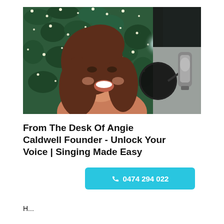[Figure (photo): Woman with long auburn hair smiling and singing into a studio microphone with a pop filter, in front of a green background with hanging fairy lights. A second microphone is visible in the background on the right.]
From The Desk Of Angie Caldwell Founder - Unlock Your Voice | Singing Made Easy
0474 294 022
H...